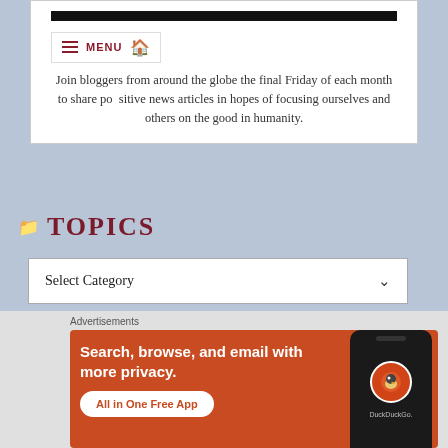Join bloggers from around the globe the final Friday of each month to share positive news articles in hopes of focusing ourselves and others on the good in humanity.
TOPICS
Select Category
Recent Comments
[Figure (screenshot): DuckDuckGo advertisement banner with orange background. Text reads: Search, browse, and email with more privacy. All in One Free App. Shows a dark smartphone with DuckDuckGo logo.]
Advertisements